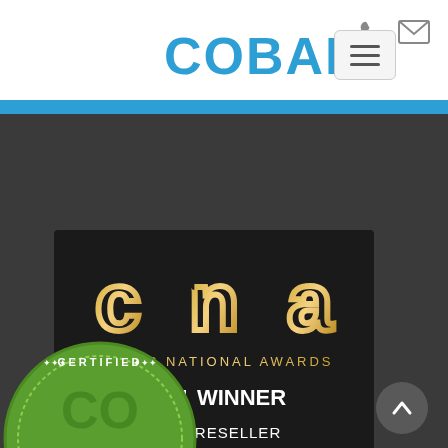Cobalt website header with phone and email icons
COBALT
[Figure (screenshot): Hamburger/menu toggle button with three horizontal lines]
[Figure (logo): CNA Comms National Awards 2021 Winner – Best Reseller Innovation Award badge on dark background]
[Figure (logo): Certified badge (partial, green circular badge at bottom of page)]